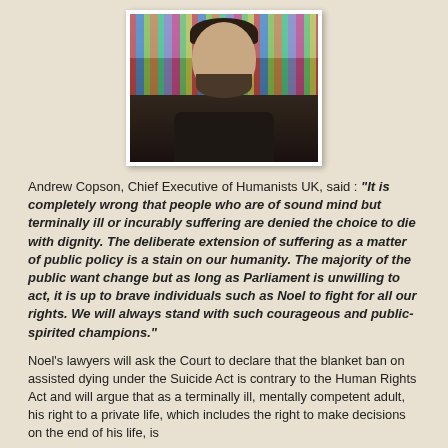[Figure (photo): Portrait photograph of Andrew Copson, a bearded man in a dark jacket, standing in front of a bookshelf]
Andrew Copson, Chief Executive of Humanists UK, said : “It is completely wrong that people who are of sound mind but terminally ill or incurably suffering are denied the choice to die with dignity. The deliberate extension of suffering as a matter of public policy is a stain on our humanity. The majority of the public want change but as long as Parliament is unwilling to act, it is up to brave individuals such as Noel to fight for all our rights. We will always stand with such courageous and public-spirited champions.”
Noel’s lawyers will ask the Court to declare that the blanket ban on assisted dying under the Suicide Act is contrary to the Human Rights Act and will argue that as a terminally ill, mentally competent adult, his right to a private life, which includes the right to make decisions on the end of his life, is